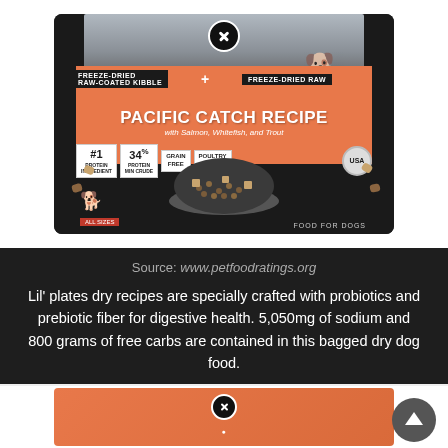[Figure (photo): Product image of a dog food bag labeled 'Pacific Catch Recipe' with salmon, whitefish, and trout, showing freeze-dried raw-coated kibble, badges for #1, 34%, Grain Free, Poultry Free, and Made in USA]
Source: www.petfoodratings.org
Lil' plates dry recipes are specially crafted with probiotics and prebiotic fiber for digestive health. 5,050mg of sodium and 800 grams of free carbs are contained in this bagged dry dog food.
[Figure (photo): Partial product image showing orange packaging, close button visible at top center]